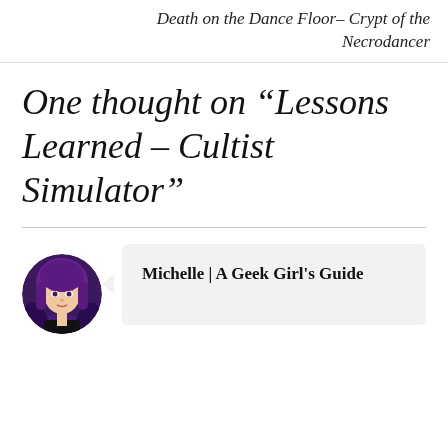Death on the Dance Floor– Crypt of the Necrodancer
One thought on “Lessons Learned – Cultist Simulator”
[Figure (illustration): Circular avatar image of a woman with dark reddish-purple hair wearing a black outfit, styled as an anime/illustration, on a dark purple background.]
Michelle | A Geek Girl's Guide